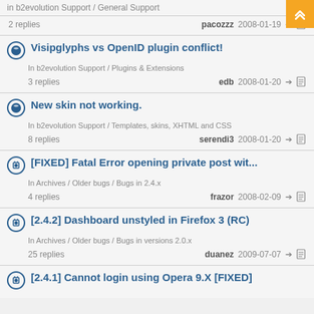in b2evolution Support / General Support
2 replies   pacozzz 2008-01-19
Visipglyphs vs OpenID plugin conflict! — In b2evolution Support / Plugins & Extensions — 3 replies   edb 2008-01-20
New skin not working. — In b2evolution Support / Templates, skins, XHTML and CSS — 8 replies   serendi3 2008-01-20
[FIXED] Fatal Error opening private post wit... — In Archives / Older bugs / Bugs in 2.4.x — 4 replies   frazor 2008-02-09
[2.4.2] Dashboard unstyled in Firefox 3 (RC) — In Archives / Older bugs / Bugs in versions 2.0.x — 25 replies   duanez 2009-07-07
[2.4.1] Cannot login using Opera 9.X [FIXED]